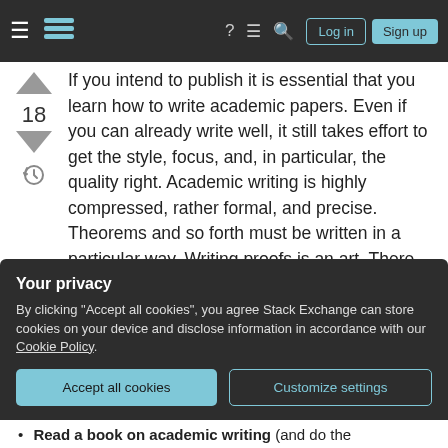Stack Exchange navigation bar with Log in and Sign up buttons
If you intend to publish it is essential that you learn how to write academic papers. Even if you can already write well, it still takes effort to get the style, focus, and, in particular, the quality right. Academic writing is highly compressed, rather formal, and precise. Theorems and so forth must be written in a particular way. Writing proofs is an art. There are even (implicit) standards for referencing the literature. Get any of these wrong and your article looks amateurish, which lends itself to rejection irrespective of the quality of the contents.
Your privacy
By clicking "Accept all cookies", you agree Stack Exchange can store cookies on your device and disclose information in accordance with our Cookie Policy.
Read a book on academic writing (and do the